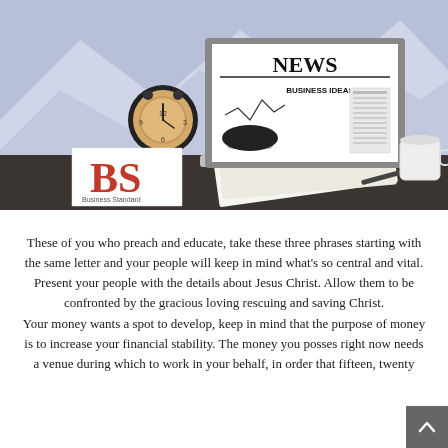[Figure (photo): Photo of a laptop showing a NEWS page with 'BUSINESS IDEAS', an alarm clock, an open notebook, a pen, a white cup, and a Business Standard (BS) logo block on a dark desk with blue/purple mountain background.]
These of you who preach and educate, take these three phrases starting with the same letter and your people will keep in mind what's so central and vital. Present your people with the details about Jesus Christ. Allow them to be confronted by the gracious loving rescuing and saving Christ.
Your money wants a spot to develop, keep in mind that the purpose of money is to increase your financial stability. The money you posses right now needs a venue during which to work in your behalf, in order that fifteen, twenty